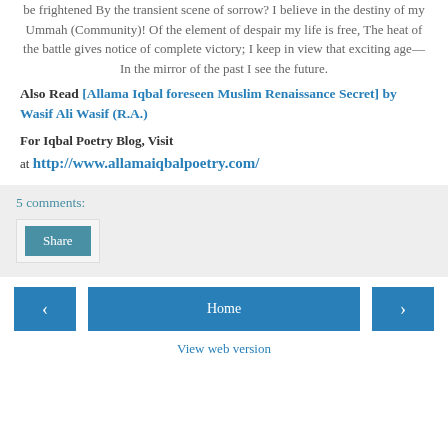be frightened By the transient scene of sorrow? I believe in the destiny of my Ummah (Community)! Of the element of despair my life is free, The heat of the battle gives notice of complete victory; I keep in view that exciting age—In the mirror of the past I see the future.
Also Read [Allama Iqbal foreseen Muslim Renaissance Secret] by Wasif Ali Wasif (R.A.)
For Iqbal Poetry Blog, Visit at http://www.allamaiqbalpoetry.com/
5 comments:
Share
Home
View web version